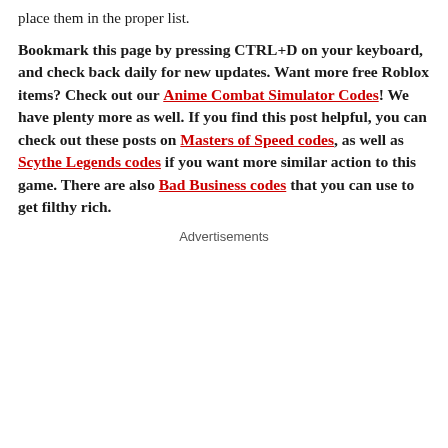place them in the proper list.
Bookmark this page by pressing CTRL+D on your keyboard, and check back daily for new updates. Want more free Roblox items? Check out our Anime Combat Simulator Codes! We have plenty more as well. If you find this post helpful, you can check out these posts on Masters of Speed codes, as well as Scythe Legends codes if you want more similar action to this game. There are also Bad Business codes that you can use to get filthy rich.
Advertisements